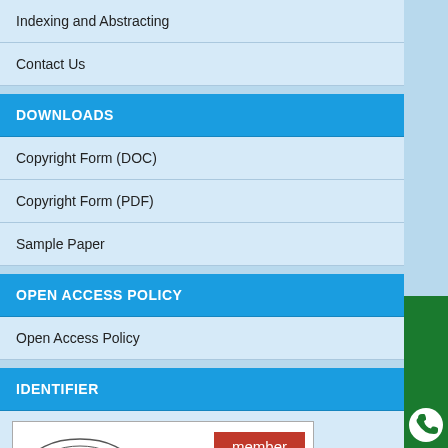Indexing and Abstracting
Contact Us
DOWNLOADS
Copyright Form (DOC)
Copyright Form (PDF)
Sample Paper
OPEN ACCESS POLICY
Open Access Policy
IDENTIFIER
[Figure (logo): CrossRef member logo — shows 'crossref' wordmark in red/gray italic with an oval graphic, 'member' badge in red, and footer 'CROSSREF.ORG / THE CITATION LINKING BACKBONE' on gray background]
[Figure (illustration): WhatsApp Enquiry button — green vertical tab on right edge with text 'WhatsApp Enquiry' and WhatsApp phone icon]